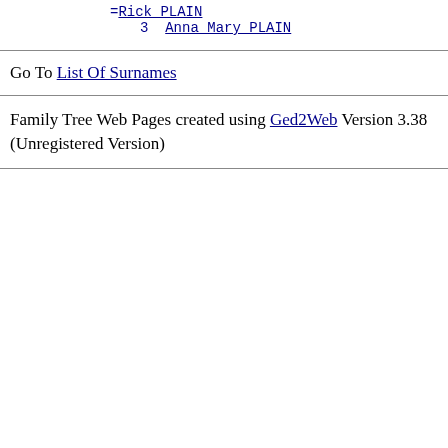=Rick PLAIN
3  Anna Mary PLAIN
Go To List Of Surnames
Family Tree Web Pages created using Ged2Web Version 3.38 (Unregistered Version)